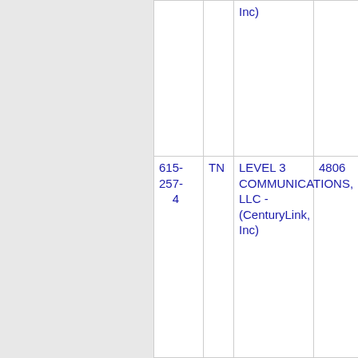| Phone | State | Company | Number |
| --- | --- | --- | --- |
|  |  | ...CenturyLink, Inc) |  |
| 615-257-4 | TN | LEVEL 3 COMMUNICATIONS, LLC - (CenturyLink, Inc) | 4806 |
| 615-257-5 | TN | LEVEL 3 COMMUNICATIONS, LLC - (CenturyLink, Inc) | 4806 |